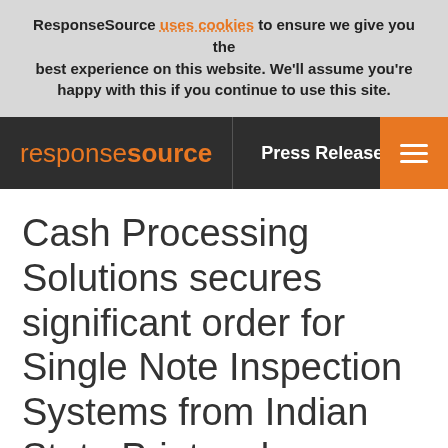ResponseSource uses cookies to ensure we give you the best experience on this website. We'll assume you're happy with this if you continue to use this site.
responsesource | Press Release Wire
Cash Processing Solutions secures significant order for Single Note Inspection Systems from Indian State Printworks.